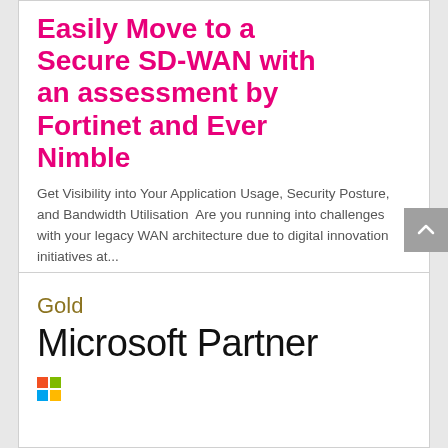Easily Move to a Secure SD-WAN with an assessment by Fortinet and Ever Nimble
Get Visibility into Your Application Usage, Security Posture, and Bandwidth Utilisation  Are you running into challenges with your legacy WAN architecture due to digital innovation initiatives at...
[Figure (logo): Gold Microsoft Partner logo with multicolored squares]